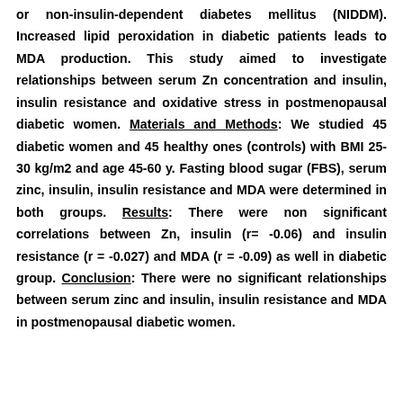or non-insulin-dependent diabetes mellitus (NIDDM). Increased lipid peroxidation in diabetic patients leads to MDA production. This study aimed to investigate relationships between serum Zn concentration and insulin, insulin resistance and oxidative stress in postmenopausal diabetic women. Materials and Methods: We studied 45 diabetic women and 45 healthy ones (controls) with BMI 25-30 kg/m2 and age 45-60 y. Fasting blood sugar (FBS), serum zinc, insulin, insulin resistance and MDA were determined in both groups. Results: There were non significant correlations between Zn, insulin (r= -0.06) and insulin resistance (r = -0.027) and MDA (r = -0.09) as well in diabetic group. Conclusion: There were no significant relationships between serum zinc and insulin, insulin resistance and MDA in postmenopausal diabetic women.